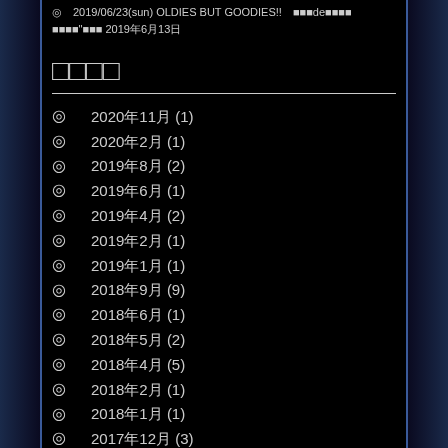◎ 2019/06/23(sun) OLDIES BUT GOODIES!! ■■■de■■■■ ■■■■"■■■ 2019年6月13日
□□□□
◎ 2020年11月 (1)
◎ 2020年2月 (1)
◎ 2019年8月 (2)
◎ 2019年6月 (1)
◎ 2019年4月 (2)
◎ 2019年2月 (1)
◎ 2019年1月 (1)
◎ 2018年9月 (9)
◎ 2018年6月 (1)
◎ 2018年5月 (2)
◎ 2018年4月 (5)
◎ 2018年2月 (1)
◎ 2018年1月 (1)
◎ 2017年12月 (3)
◎ 2017年11月 (1)